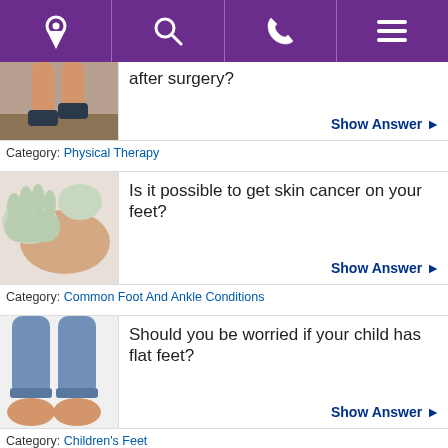Navigation bar with location, search, phone, and menu icons
How can I speed up recovery after surgery?
Show Answer ▶
Category: Physical Therapy
Is it possible to get skin cancer on your feet?
Show Answer ▶
Category: Common Foot And Ankle Conditions
Should you be worried if your child has flat feet?
Show Answer ▶
Category: Children's Feet